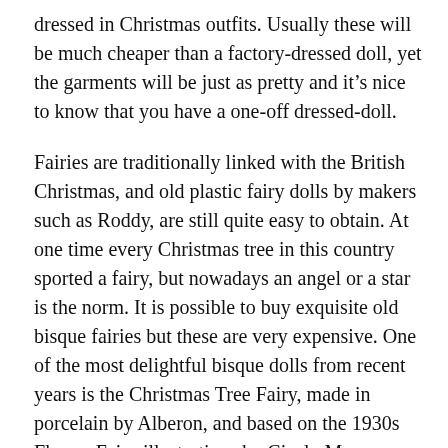dressed in Christmas outfits. Usually these will be much cheaper than a factory-dressed doll, yet the garments will be just as pretty and it's nice to know that you have a one-off dressed-doll.
Fairies are traditionally linked with the British Christmas, and old plastic fairy dolls by makers such as Roddy, are still quite easy to obtain. At one time every Christmas tree in this country sported a fairy, but nowadays an angel or a star is the norm. It is possible to buy exquisite old bisque fairies but these are very expensive. One of the most delightful bisque dolls from recent years is the Christmas Tree Fairy, made in porcelain by Alberon, and based on the 1930s Flower Fairy illustrations by Cicely Mary Barker. Standing 15 inches high, dressed in pearly iridescent fabric, this fairy is rather large for the average tree but would make a perfect table-centre. If you're looking for something smaller, the dainty little Hornby Christmas Tree Fairy, from their 1980s